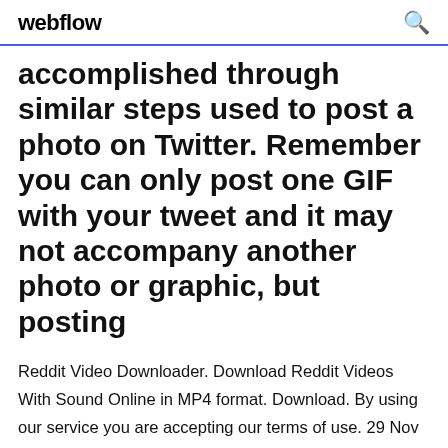webflow
accomplished through similar steps used to post a photo on Twitter. Remember you can only post one GIF with your tweet and it may not accompany another photo or graphic, but posting
Reddit Video Downloader. Download Reddit Videos With Sound Online in MP4 format. Download. By using our service you are accepting our terms of use. 29 Nov 2019 In spite of dazzling suggestions, many people still can't figure out how to download favorite Reddit GIFs as wish. Here we'd like to show you